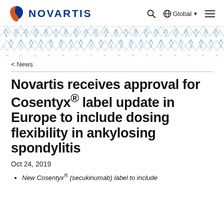NOVARTIS | Global
[Figure (illustration): Decorative hexagonal pattern band in blue tones]
< News
Novartis receives approval for Cosentyx® label update in Europe to include dosing flexibility in ankylosing spondylitis
Oct 24, 2019
New Cosentyx® (secukinumab) label to include